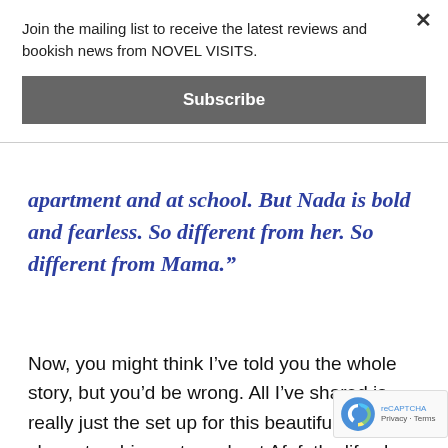Join the mailing list to receive the latest reviews and bookish news from NOVEL VISITS.
Subscribe
apartment and at school. But Nada is bold and fearless. So different from her. So different from Mama.”
Now, you might think I’ve told you the whole story, but you’d be wrong. All I’ve shared is really just the set up for this beautiful character-driven story about Afaf, the life she led inside her very damaged family, and the journey that finally took her off the sad path her parents had put her on.